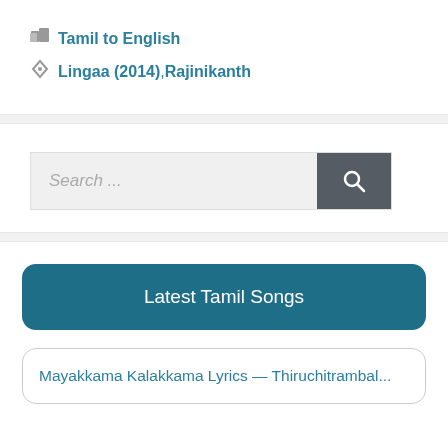Tamil to English
Lingaa (2014), Rajinikanth
[Figure (screenshot): Search bar with placeholder text 'Search ...' and a dark search button with magnifying glass icon]
Latest Tamil Songs
Mayakkama Kalakkama Lyrics — Thiruchitrambal...